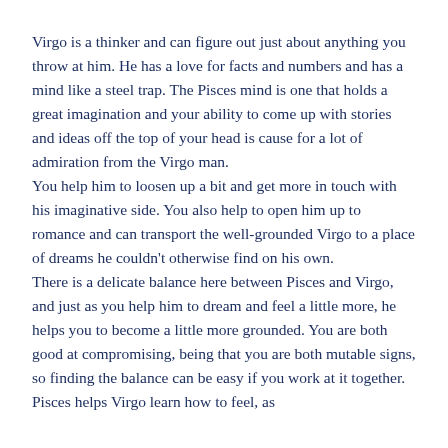Virgo is a thinker and can figure out just about anything you throw at him. He has a love for facts and numbers and has a mind like a steel trap. The Pisces mind is one that holds a great imagination and your ability to come up with stories and ideas off the top of your head is cause for a lot of admiration from the Virgo man.
You help him to loosen up a bit and get more in touch with his imaginative side. You also help to open him up to romance and can transport the well-grounded Virgo to a place of dreams he couldn't otherwise find on his own.
There is a delicate balance here between Pisces and Virgo, and just as you help him to dream and feel a little more, he helps you to become a little more grounded. You are both good at compromising, being that you are both mutable signs, so finding the balance can be easy if you work at it together. Pisces helps Virgo learn how to feel, as